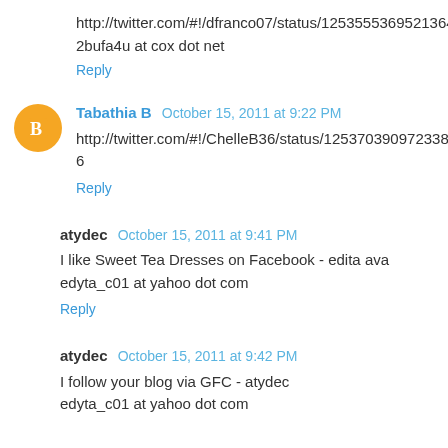http://twitter.com/#!/dfranco07/status/125355369521364992
2bufa4u at cox dot net
Reply
Tabathia B  October 15, 2011 at 9:22 PM
http://twitter.com/#!/ChelleB36/status/125370390972338176
Reply
atydec  October 15, 2011 at 9:41 PM
I like Sweet Tea Dresses on Facebook - edita ava edyta_c01 at yahoo dot com
Reply
atydec  October 15, 2011 at 9:42 PM
I follow your blog via GFC - atydec edyta_c01 at yahoo dot com